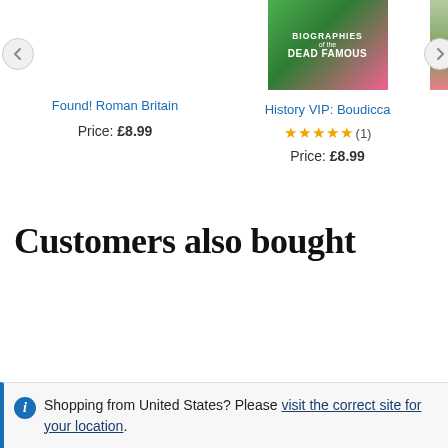Found! Roman Britain
Price: £8.99
[Figure (photo): Book cover: History VIP Boudicca – Biographies of the Dead Famous, green and pink cover]
History VIP: Boudicca
★★★★★ (1)
Price: £8.99
Customers also bought
Shopping from United States? Please visit the correct site for your location.